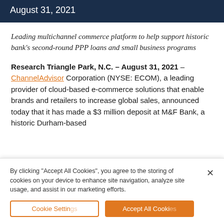August 31, 2021
Leading multichannel commerce platform to help support historic bank's second-round PPP loans and small business programs
Research Triangle Park, N.C. – August 31, 2021 – ChannelAdvisor Corporation (NYSE: ECOM), a leading provider of cloud-based e-commerce solutions that enable brands and retailers to increase global sales, announced today that it has made a $3 million deposit at M&F Bank, a historic Durham-based...
By clicking “Accept All Cookies”, you agree to the storing of cookies on your device to enhance site navigation, analyze site usage, and assist in our marketing efforts.